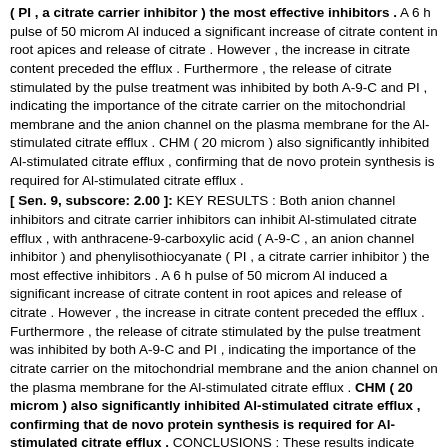( PI , a citrate carrier inhibitor ) the most effective inhibitors . A 6 h pulse of 50 microm Al induced a significant increase of citrate content in root apices and release of citrate . However , the increase in citrate content preceded the efflux . Furthermore , the release of citrate stimulated by the pulse treatment was inhibited by both A-9-C and PI , indicating the importance of the citrate carrier on the mitochondrial membrane and the anion channel on the plasma membrane for the Al-stimulated citrate efflux . CHM ( 20 microm ) also significantly inhibited Al-stimulated citrate efflux , confirming that de novo protein synthesis is required for Al-stimulated citrate efflux .
[ Sen. 9, subscore: 2.00 ]: KEY RESULTS : Both anion channel inhibitors and citrate carrier inhibitors can inhibit Al-stimulated citrate efflux , with anthracene-9-carboxylic acid ( A-9-C , an anion channel inhibitor ) and phenylisothiocyanate ( PI , a citrate carrier inhibitor ) the most effective inhibitors . A 6 h pulse of 50 microm Al induced a significant increase of citrate content in root apices and release of citrate . However , the increase in citrate content preceded the efflux . Furthermore , the release of citrate stimulated by the pulse treatment was inhibited by both A-9-C and PI , indicating the importance of the citrate carrier on the mitochondrial membrane and the anion channel on the plasma membrane for the Al-stimulated citrate efflux . CHM ( 20 microm ) also significantly inhibited Al-stimulated citrate efflux , confirming that de novo protein synthesis is required for Al-stimulated citrate efflux . CONCLUSIONS : These results indicate that the activation of genes possibly encoding citrate transporters plays a critical role in Al-stimulated citrate efflux .
[ Sen. 1, subscore: 1.00 ]: BACKGROUND AND AIMS : Aluminium ( Al ) stimulates the efflux of citrate from apices of rice bean ( Vigna umbellata ) roots . This response is delayed at least 3 h when roots are exposed to 50 microm Al , indicating that some inducible processes